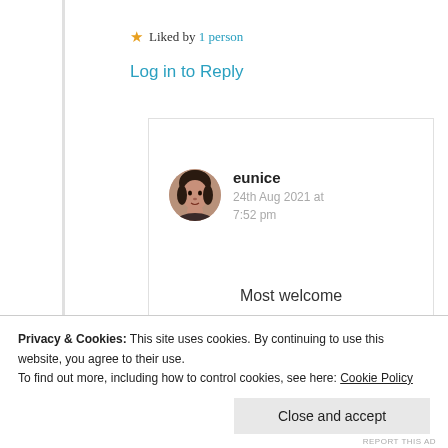★ Liked by 1 person
Log in to Reply
[Figure (photo): Circular avatar photo of user eunice]
eunice
24th Aug 2021 at 7:52 pm
Most welcome
Privacy & Cookies: This site uses cookies. By continuing to use this website, you agree to their use.
To find out more, including how to control cookies, see here: Cookie Policy
Close and accept